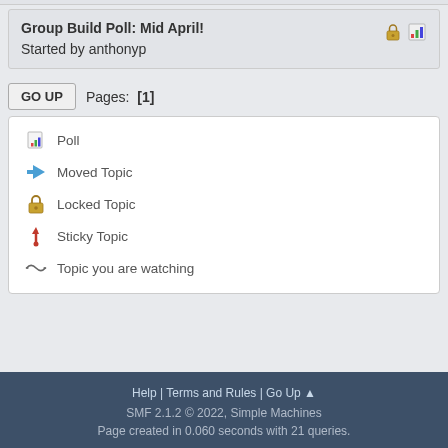Group Build Poll: Mid April!
Started by anthonyp
GO UP   Pages: [1]
Poll
Moved Topic
Locked Topic
Sticky Topic
Topic you are watching
Help | Terms and Rules | Go Up ▲
SMF 2.1.2 © 2022, Simple Machines
Page created in 0.060 seconds with 21 queries.